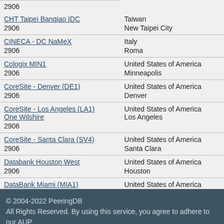| Name | Country/City |
| --- | --- |
| 2906 |  |
| CHT Taipei Banqiao IDC | Taiwan |
| 2906 | New Taipei City |
| CINECA - DC NaMeX | Italy |
| 2906 | Roma |
| Cologix MIN1 | United States of America |
| 2906 | Minneapolis |
| CoreSite - Denver (DE1) | United States of America |
| 2906 | Denver |
| CoreSite - Los Angeles (LA1) One Wilshire | United States of America |
| 2906 | Los Angeles |
| CoreSite - Santa Clara (SV4) | United States of America |
| 2906 | Santa Clara |
| Databank Houston West | United States of America |
| 2906 | Houston |
| DataBank Miami (MIA1) | United States of America |
© 2004-2022 PeeringDB
All Rights Reserved. By using this service, you agree to adhere to our AUP.

2.39.0 - Privacy Policy